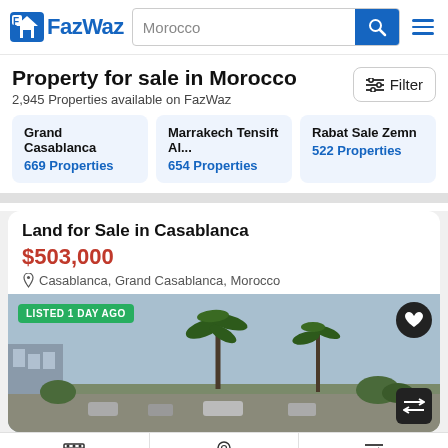FazWaz — Morocco search bar with filter and hamburger menu
Property for sale in Morocco
2,945 Properties available on FazWaz
Grand Casablanca — 669 Properties
Marrakech Tensift Al... — 654 Properties
Rabat Sale Zemn — 522 Properties
Land for Sale in Casablanca
$503,000
Casablanca, Grand Casablanca, Morocco
[Figure (photo): Land plot in Casablanca with palm trees and urban skyline in background. Tag: LISTED 1 DAY AGO. Heart and swap buttons visible.]
Show Map | Save Search | Sort